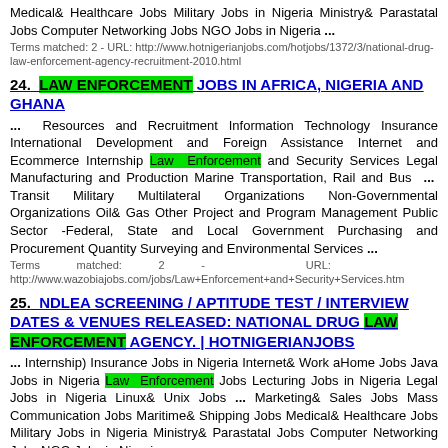Medical& Healthcare Jobs Military Jobs in Nigeria Ministry& Parastatal Jobs Computer Networking Jobs NGO Jobs in Nigeria ...
Terms matched: 2 - URL: http://www.hotnigerianjobs.com/hotjobs/1372/3/national-drug-law-enforcement-agency-recruitment-2010.html
24. LAW ENFORCEMENT JOBS IN AFRICA, NIGERIA AND GHANA
... Resources and Recruitment Information Technology Insurance International Development and Foreign Assistance Internet and Ecommerce Internship Law Enforcement and Security Services Legal Manufacturing and Production Marine Transportation, Rail and Bus ... Transit Military Multilateral Organizations Non-Governmental Organizations Oil& Gas Other Project and Program Management Public Sector -Federal, State and Local Government Purchasing and Procurement Quantity Surveying and Environmental Services ...
Terms matched: 2 - URL: http://www.wazobiajobs.com/jobs/Law+Enforcement+and+Security+Services.htm
25. NDLEA SCREENING / APTITUDE TEST / INTERVIEW DATES & VENUES RELEASED: NATIONAL DRUG LAW ENFORCEMENT AGENCY. | HOTNIGERIANJOBS
... Internship) Insurance Jobs in Nigeria Internet& Work aHome Jobs Java Jobs in Nigeria Law Enforcement Jobs Lecturing Jobs in Nigeria Legal Jobs in Nigeria Linux& Unix Jobs ... Marketing& Sales Jobs Mass Communication Jobs Maritime& Shipping Jobs Medical& Healthcare Jobs Military Jobs in Nigeria Ministry& Parastatal Jobs Computer Networking Jobs NGO Jobs in Nigeria ...
Terms matched: 2 - URL: http://www.hotnigerianjobs.com/hotjobs/1911/1/ndlea-dates-venues-aptitude-test-screening-interview.html